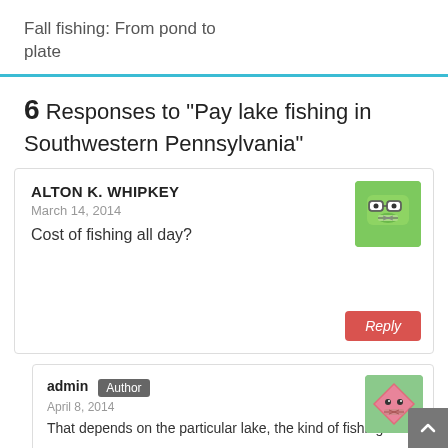Fall fishing: From pond to plate
6 Responses to “Pay lake fishing in Southwestern Pennsylvania”
ALTON K. WHIPKEY
March 14, 2014
Cost of fishing all day?
admin Author
April 8, 2014
That depends on the particular lake, the kind of fishing